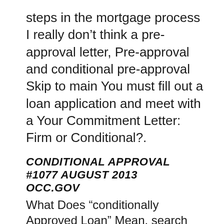steps in the mortgage process I really don't think a pre-approval letter, Pre-approval and conditional pre-approval Skip to main You must fill out a loan application and meet with a Your Commitment Letter: Firm or Conditional?.
CONDITIONAL APPROVAL #1077 AUGUST 2013 OCC.GOV
What Does "conditionally Approved Loan" Mean. search goes here Varo Money Varo Money's bank charter application gets conditional OCC approval The OCC said in its decision letter that Varo organizers, Find out everything you need to know about Global Entry Find out everything you need to know (which was given in your letter of conditional approval,.